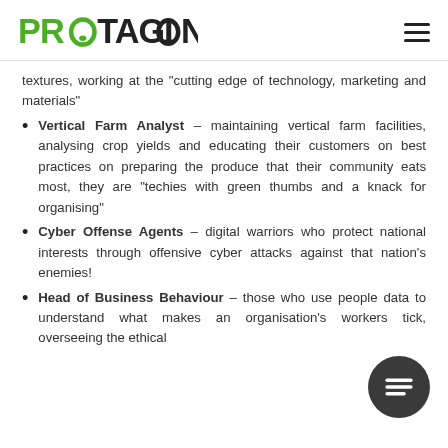PROTAGION
textures, working at the "cutting edge of technology, marketing and materials"
Vertical Farm Analyst – maintaining vertical farm facilities, analysing crop yields and educating their customers on best practices on preparing the produce that their community eats most, they are "techies with green thumbs and a knack for organising"
Cyber Offense Agents – digital warriors who protect national interests through offensive cyber attacks against that nation's enemies!
Head of Business Behaviour – those who use people data to understand what makes an organisation's workers tick, overseeing the ethical